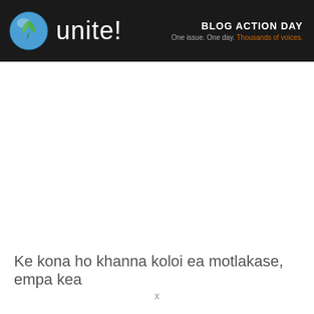[Figure (logo): Blog Action Day banner with green leaf globe icon, 'unite!' text in white, and tagline 'One issue. One day. Thousands of voices.' on dark background]
Ke kona ho khanna koloi ea motlakase, empa kea